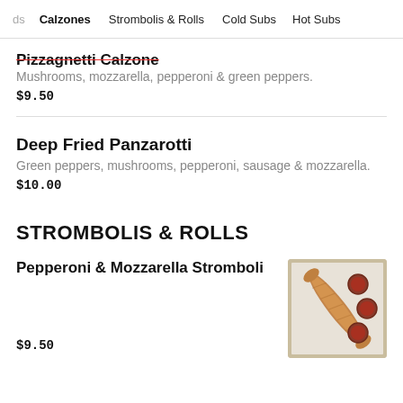ds   Calzones   Strombolis & Rolls   Cold Subs   Hot Subs
Pizzagnetti Calzone
Mushrooms, mozzarella, pepperoni & green peppers.
$9.50
Deep Fried Panzarotti
Green peppers, mushrooms, pepperoni, sausage & mozzarella.
$10.00
STROMBOLIS & ROLLS
Pepperoni & Mozzarella Stromboli
[Figure (photo): A stromboli roll in a cardboard box with several small cups of dipping sauce (marinara).]
$9.50